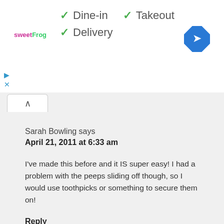[Figure (screenshot): Top bar showing sweetFrog logo, checkmarks for Dine-in, Takeout, Delivery service options, and a blue navigation arrow icon]
Sarah Bowling says
April 21, 2011 at 6:33 am
I've made this before and it IS super easy! I had a problem with the peeps sliding off though, so I would use toothpicks or something to secure them on!
Reply
Heidi says